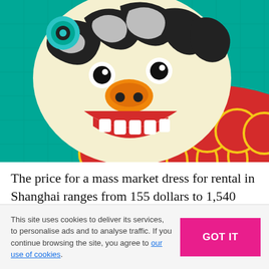[Figure (illustration): Colorful illustration of a Chinese lion dance costume head (lion dance dragon) on a teal/green background with a red and gold scalloped body. The lion has a cream-colored face with black and white swirling patterns, orange nose, and white teeth. Teal stilts/legs are visible below the red body.]
The price for a mass market dress for rental in Shanghai ranges from 155 dollars to 1,540 dollars (1000 to 10,000 yuan) for three days and the buying price for ready-to-wear
This site uses cookies to deliver its services, to personalise ads and to analyse traffic. If you continue browsing the site, you agree to our use of cookies.